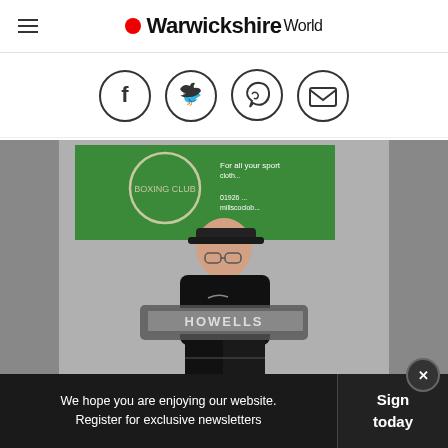Warwickshire World
[Figure (other): Social sharing icons: Facebook, Twitter, WhatsApp, Email — circular outlines]
[Figure (photo): A young man wearing a black cap and black Nike t-shirt, holding up a boxing championship belt that reads HOWELLS, standing in front of a green banner in what appears to be a sports/boxing gym]
We hope you are enjoying our website. Register for exclusive newsletters
Sign today